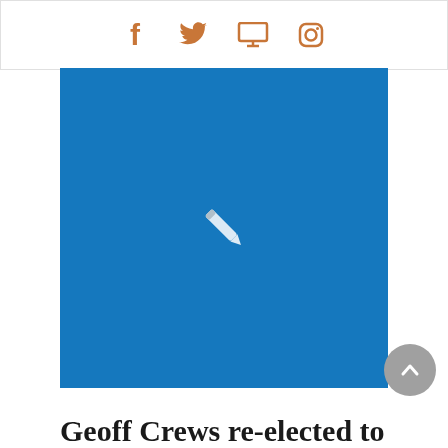[Figure (other): Social media icons bar with Facebook, Twitter, monitor/web, and Instagram icons in orange]
[Figure (other): Blue placeholder image with a white pencil/edit icon in the center]
[Figure (other): Gray circular back-to-top button with upward chevron arrow]
Geoff Crews re-elected to